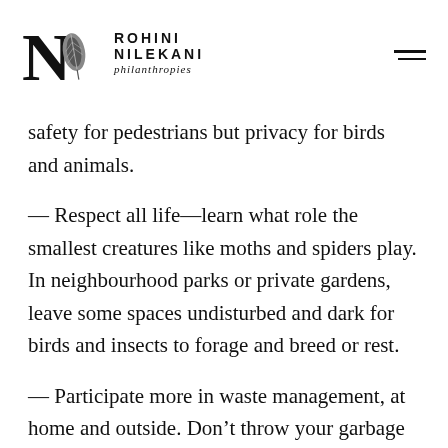ROHINI NILEKANI philanthropies
safety for pedestrians but privacy for birds and animals.
— Respect all life—learn what role the smallest creatures like moths and spiders play. In neighbourhood parks or private gardens, leave some spaces undisturbed and dark for birds and insects to forage and breed or rest.
— Participate more in waste management, at home and outside. Don't throw your garbage where animals can get at it. Plastic and cows, for example,